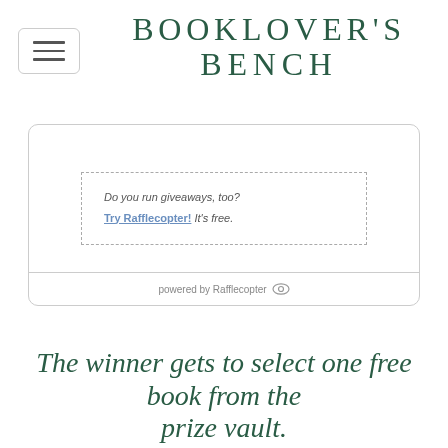BOOKLOVER'S BENCH
[Figure (screenshot): Rafflecopter giveaway widget embedded in a rounded-corner box. Inside is a dashed-border box with italic text 'Do you run giveaways, too? Try Rafflecopter! It's free.' The widget footer reads 'powered by Rafflecopter' with an eye icon.]
The winner gets to select one free book from the prize vault.